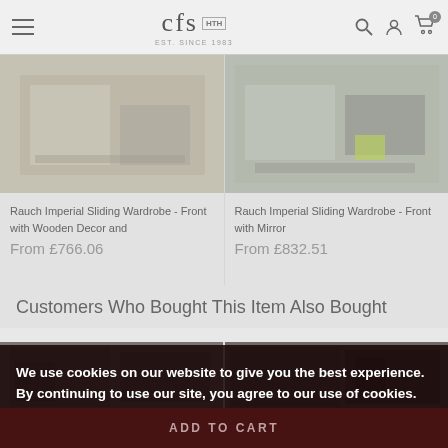[Figure (screenshot): CFS website header with hamburger menu, CFS logo with HTH badge, search icon, account icon, and cart icon with 0 badge]
[Figure (photo): Rauch Imperial Sliding Wardrobe front with wooden decor product photo - bedroom interior]
Rauch Imperial Sliding Wardrobe - Front with Wooden Decor and
From £766.06
[Figure (photo): Rauch Imperial Sliding Wardrobe front with mirror product photo - bedroom interior with green cushion]
Rauch Imperial Sliding Wardrobe - Front with Mirror
From £832.51
Customers Who Bought This Item Also Bought
[Figure (photo): Bottom product image left - dark wardrobe]
[Figure (photo): Bottom product image right - dark wardrobe interior]
We use cookies on our website to give you the best experience. By continuing to use our site, you agree to our use of cookies.
Read More about our cookie policy here.
OK
ADD TO CART